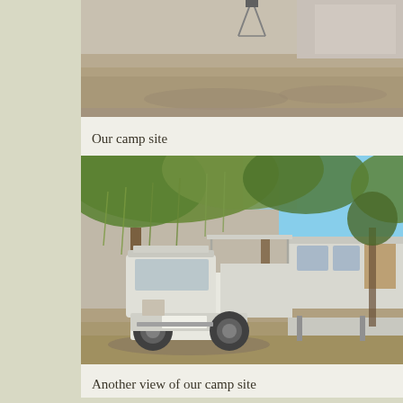[Figure (photo): Partial view of a campsite, showing ground with a vehicle and equipment visible at top of frame, cropped image]
Our camp site
[Figure (photo): A white Nissan pickup truck towing a large white caravan/travel trailer parked under willow-like trees at a campsite, with an awning extended from the caravan]
Another view of our camp site